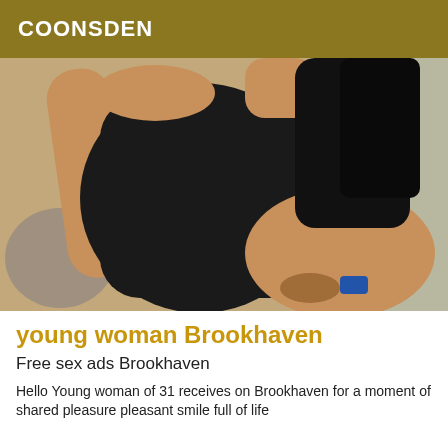COONSDEN
[Figure (photo): Photo of a young woman in a black sleeveless dress, sitting with one leg raised, showing her arm and leg, with dark hair, against a light wall background.]
young woman Brookhaven
Free sex ads Brookhaven
Hello Young woman of 31 receives on Brookhaven for a moment of shared pleasure pleasant smile full of life